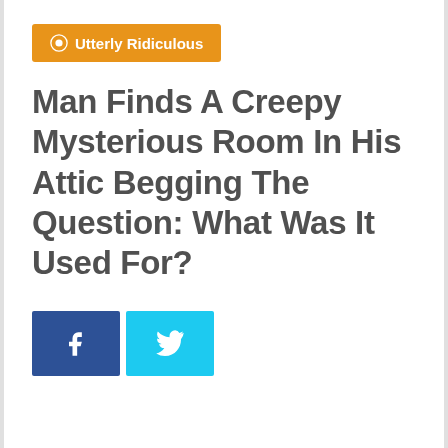Utterly Ridiculous
Man Finds A Creepy Mysterious Room In His Attic Begging The Question: What Was It Used For?
[Figure (other): Social media share buttons: Facebook (blue) and Twitter (light blue)]